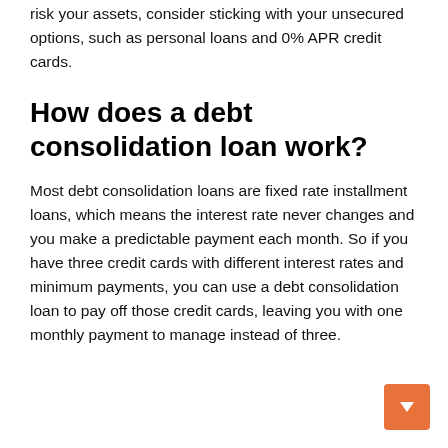risk your assets, consider sticking with your unsecured options, such as personal loans and 0% APR credit cards.
How does a debt consolidation loan work?
Most debt consolidation loans are fixed rate installment loans, which means the interest rate never changes and you make a predictable payment each month. So if you have three credit cards with different interest rates and minimum payments, you can use a debt consolidation loan to pay off those credit cards, leaving you with one monthly payment to manage instead of three.